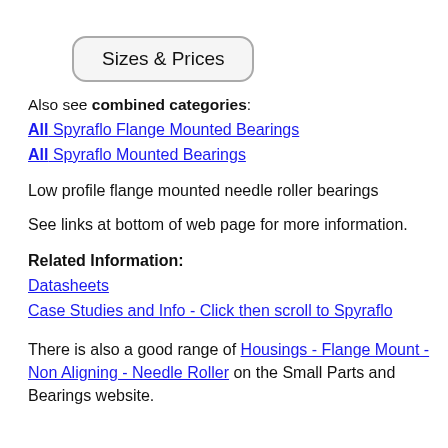[Figure (other): Button labeled 'Sizes & Prices' with rounded rectangle border]
Also see combined categories:
All Spyraflo Flange Mounted Bearings
All Spyraflo Mounted Bearings
Low profile flange mounted needle roller bearings
See links at bottom of web page for more information.
Related Information:
Datasheets
Case Studies and Info - Click then scroll to Spyraflo
There is also a good range of Housings - Flange Mount - Non Aligning - Needle Roller on the Small Parts and Bearings website.